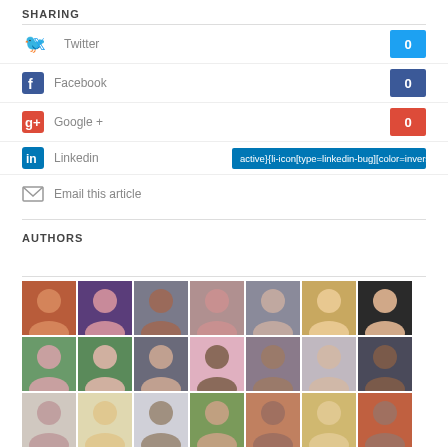SHARING
Twitter  0
Facebook  0
Google +  0
Linkedin  active}{li-icon[type=linkedin-bug][color=inverse] .background{fill
Email this article
AUTHORS
[Figure (photo): Grid of author profile photos, 7 columns, 4 rows visible]